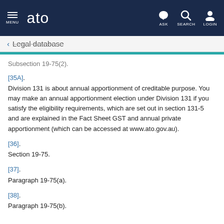ato — MENU | ASK | SEARCH | LOGIN
← Legal database
Subsection 19-75(2).
[35A]. Division 131 is about annual apportionment of creditable purpose. You may make an annual apportionment election under Division 131 if you satisfy the eligibility requirements, which are set out in section 131-5 and are explained in the Fact Sheet GST and annual private apportionment (which can be accessed at www.ato.gov.au).
[36]. Section 19-75.
[37]. Paragraph 19-75(a).
[38]. Paragraph 19-75(b).